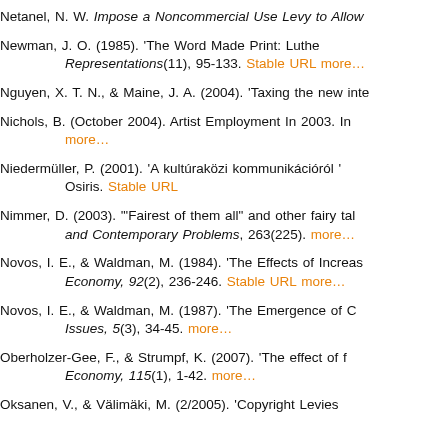Netanel, N. W. Impose a Noncommercial Use Levy to Allow…
Newman, J. O. (1985). 'The Word Made Print: Luthe… Representations(11), 95-133. Stable URL more…
Nguyen, X. T. N., & Maine, J. A. (2004). 'Taxing the new inte…
Nichols, B. (October 2004). Artist Employment In 2003. In… more…
Niedermüller, P. (2001). 'A kultúraközi kommunikációról '… Osiris. Stable URL
Nimmer, D. (2003). '"Fairest of them all" and other fairy tale… and Contemporary Problems, 263(225). more…
Novos, I. E., & Waldman, M. (1984). 'The Effects of Increas… Economy, 92(2), 236-246. Stable URL more…
Novos, I. E., & Waldman, M. (1987). 'The Emergence of C… Issues, 5(3), 34-45. more…
Oberholzer-Gee, F., & Strumpf, K. (2007). 'The effect of f… Economy, 115(1), 1-42. more…
Oksanen, V., & Välimäki, M. (2/2005). 'Copyright Levies…